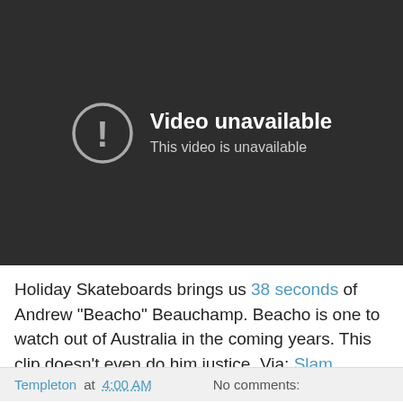[Figure (screenshot): YouTube-style video unavailable error screen with dark background. Shows a circle with exclamation mark icon on the left and text 'Video unavailable' and 'This video is unavailable' on the right in white/grey text.]
Holiday Skateboards brings us 38 seconds of Andrew "Beacho" Beauchamp. Beacho is one to watch out of Australia in the coming years. This clip doesn't even do him justice. Via: Slam.
Templeton at 4:00 AM   No comments: